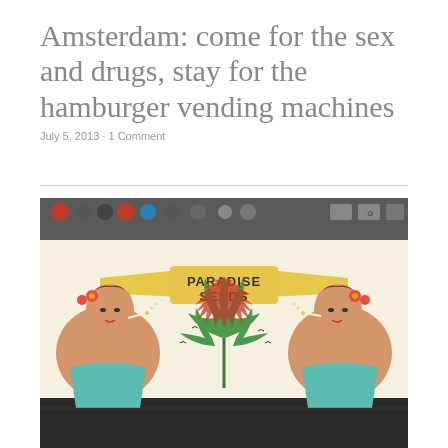Amsterdam: come for the sex and drugs, stay for the hamburger vending machines
July 5, 2013 · 1 Comment
[Figure (photo): Photo of a vending machine or storefront panel featuring a retro pin-up style illustration labeled 'PARADISE SEEDS' with a cannabis leaf in the center, flanked by two women with hibiscus flowers in their hair, one smoking on each side. The top of the image shows buttons and controls of a vending machine.]